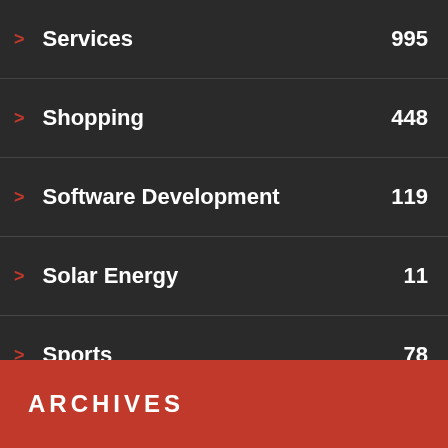Services 995
Shopping 448
Software Development 119
Solar Energy 11
Sports 78
Technology 634
Travel 397
Uncategorized 3
Videography 2
Web Design 154
Web Development 159
ARCHIVES